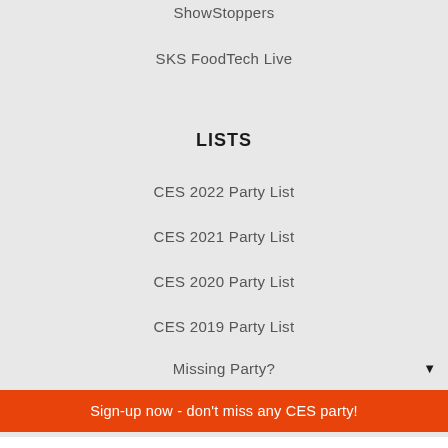ShowStoppers
SKS FoodTech Live
LISTS
CES 2022 Party List
CES 2021 Party List
CES 2020 Party List
CES 2019 Party List
Missing Party?
Sign-up now - don't miss any CES party!
Your email address..
Subscribe